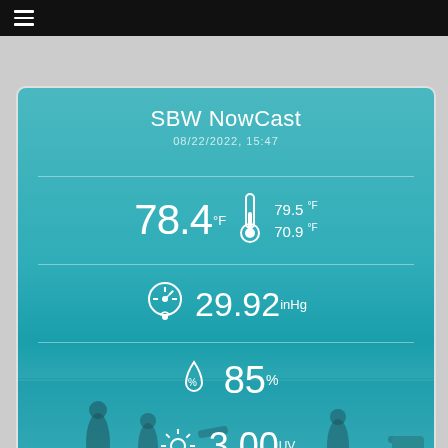☰ (hamburger menu)
SBW NowCast
08/22/2022, 15:47
78.4 °F   79.5 °F / 70.9 °F
29.92 inHg
85%
3.00 UV